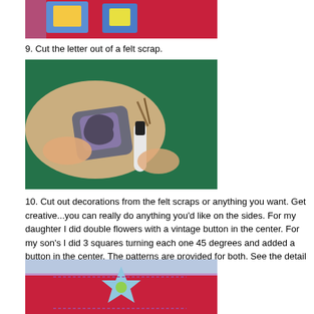[Figure (photo): Top portion of a felt craft project showing colorful felt pieces on a red background]
9.  Cut the letter out of a felt scrap.
[Figure (photo): Hands using scissors to cut a letter shape out of purple/grey felt, with a teal background]
10.  Cut out decorations from the felt scraps or anything you want.  Get creative...you can really do anything you'd like on the sides.  For my daughter I did double flowers with a vintage button in the center.    For my son's I did 3 squares turning each one 45 degrees and added a button in the center.  The patterns are provided for both.  See the detail pix below.
[Figure (photo): Close-up detail of felt craft decoration showing a flower shape in light blue felt on a red background with purple border and stitching details]